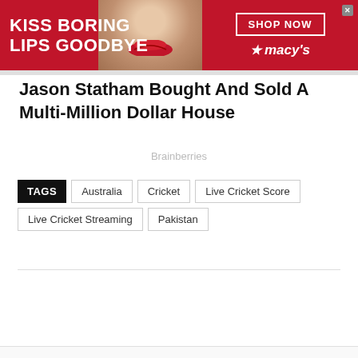[Figure (screenshot): Macy's advertisement banner with red background. Text 'KISS BORING LIPS GOODBYE' in white bold letters on left, woman's face with red lips in center, 'SHOP NOW' button and Macy's star logo on right.]
Jason Statham Bought And Sold A Multi-Million Dollar House
Brainberries
TAGS: Australia | Cricket | Live Cricket Score | Live Cricket Streaming | Pakistan
[Figure (screenshot): Belk advertisement. Image of women in denim on left, BELK logo in blue, 'Denim all day.' text, 'www.belk.com' in green, large circular arrow button on right.]